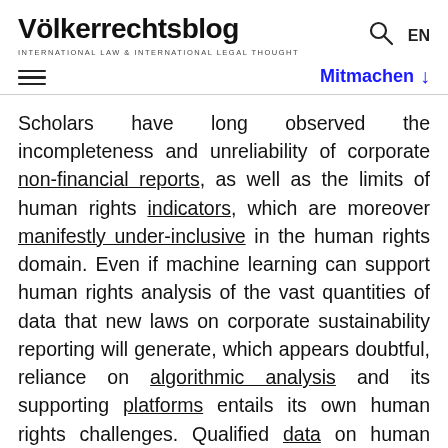Völkerrechtsblog
INTERNATIONAL LAW & INTERNATIONAL LEGAL THOUGHT
Mitmachen ↓
Scholars have long observed the incompleteness and unreliability of corporate non-financial reports, as well as the limits of human rights indicators, which are moreover manifestly under-inclusive in the human rights domain. Even if machine learning can support human rights analysis of the vast quantities of data that new laws on corporate sustainability reporting will generate, which appears doubtful, reliance on algorithmic analysis and its supporting platforms entails its own human rights challenges. Qualified data on human rights performance is no doubt important to securing effective remediation and accountability of companies and their investors in abuses, and current